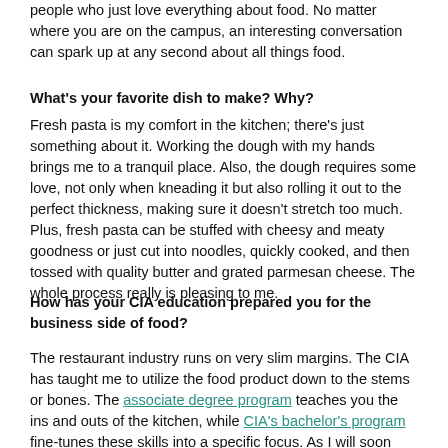people who just love everything about food. No matter where you are on the campus, an interesting conversation can spark up at any second about all things food.
What's your favorite dish to make? Why?
Fresh pasta is my comfort in the kitchen; there's just something about it. Working the dough with my hands brings me to a tranquil place. Also, the dough requires some love, not only when kneading it but also rolling it out to the perfect thickness, making sure it doesn't stretch too much. Plus, fresh pasta can be stuffed with cheesy and meaty goodness or just cut into noodles, quickly cooked, and then tossed with quality butter and grated parmesan cheese. The whole process really is pleasing to me.
How has your CIA education prepared you for the business side of food?
The restaurant industry runs on very slim margins. The CIA has taught me to utilize the food product down to the stems or bones. The associate degree program teaches you the ins and outs of the kitchen, while CIA's bachelor's program fine-tunes these skills into a specific focus. As I will soon graduate with a bachelor's in culinary science, I feel